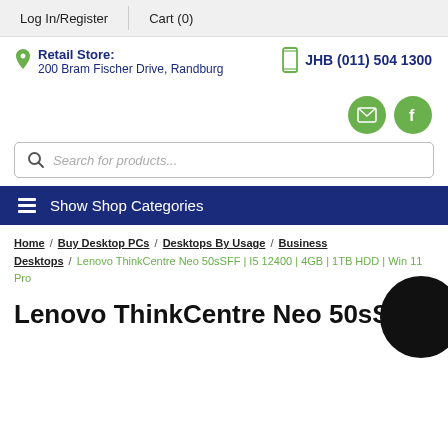Log In/Register  Cart (0)
Retail Store: 200 Bram Fischer Drive, Randburg
JHB (011) 504 1300
[Figure (other): Email and Facebook social icon buttons (green circles)]
Search for products...
Show Shop Categories
Home / Buy Desktop PCs / Desktops By Usage / Business Desktops / Lenovo ThinkCentre Neo 50sSFF | I5 12400 | 4GB | 1TB HDD | Win 11 Pro
Lenovo ThinkCentre Neo 50sSFF